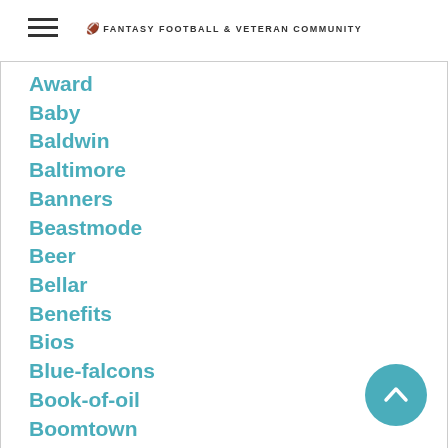FANTASY FOOTBALL & VETERAN COMMUNITY
Award
Baby
Baldwin
Baltimore
Banners
Beastmode
Beer
Bellar
Benefits
Bios
Blue-falcons
Book-of-oil
Boomtown
Brake
Braley
Brawlers
Bricktown